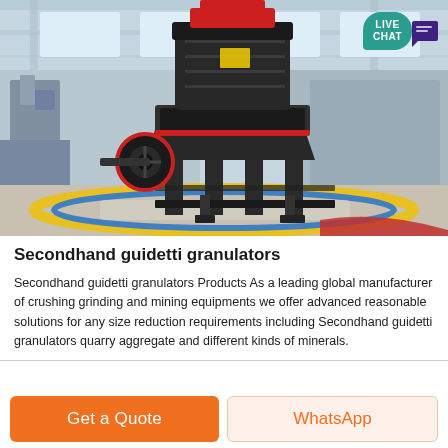[Figure (photo): Industrial granulator/crushing machine — large dark cylindrical tower mill on legs with a drive wheel/belt visible, set inside a factory hall with high ceiling and windows, yellow and blue circular tracks on the factory floor. A Live Chat speech bubble icon appears in the top-right corner.]
Secondhand guidetti granulators
Secondhand guidetti granulators Products As a leading global manufacturer of crushing grinding and mining equipments we offer advanced reasonable solutions for any size reduction requirements including Secondhand guidetti granulators quarry aggregate and different kinds of minerals.
Get a Quote
WhatsApp